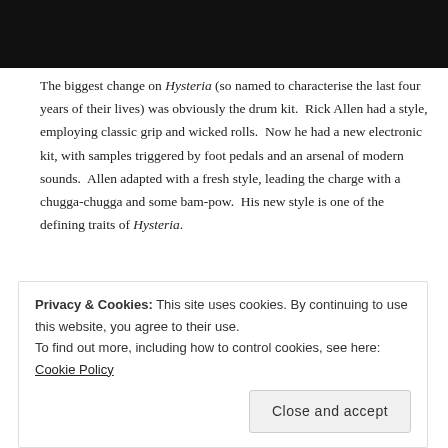[Figure (photo): Dark/black image at top of page, appears to be a cropped photo]
The biggest change on Hysteria (so named to characterise the last four years of their lives) was obviously the drum kit.  Rick Allen had a style, employing classic grip and wicked rolls.  Now he had a new electronic kit, with samples triggered by foot pedals and an arsenal of modern sounds.  Allen adapted with a fresh style, leading the charge with a chugga-chugga and some bam-pow.  His new style is one of the defining traits of Hysteria.
[Figure (screenshot): Fandom on Tumblr advertisement banner with orange-to-purple gradient and music/fandom icons]
Privacy & Cookies: This site uses cookies. By continuing to use this website, you agree to their use.
To find out more, including how to control cookies, see here: Cookie Policy
Close and accept